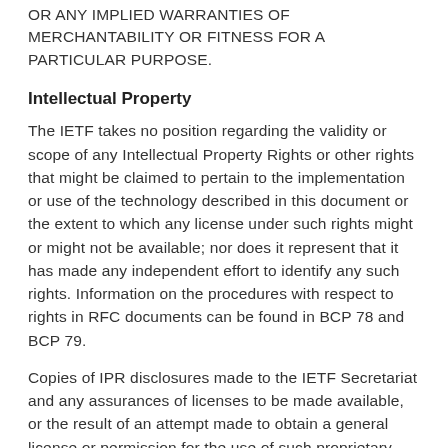OR ANY IMPLIED WARRANTIES OF MERCHANTABILITY OR FITNESS FOR A PARTICULAR PURPOSE.
Intellectual Property
The IETF takes no position regarding the validity or scope of any Intellectual Property Rights or other rights that might be claimed to pertain to the implementation or use of the technology described in this document or the extent to which any license under such rights might or might not be available; nor does it represent that it has made any independent effort to identify any such rights. Information on the procedures with respect to rights in RFC documents can be found in BCP 78 and BCP 79.
Copies of IPR disclosures made to the IETF Secretariat and any assurances of licenses to be made available, or the result of an attempt made to obtain a general license or permission for the use of such proprietary rights by implementers or users of this specification can be obtained from the IETF on-line IPR repository at